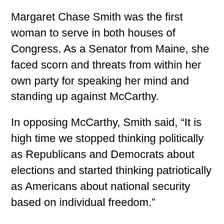Margaret Chase Smith was the first woman to serve in both houses of Congress. As a Senator from Maine, she faced scorn and threats from within her own party for speaking her mind and standing up against McCarthy.
In opposing McCarthy, Smith said, “It is high time we stopped thinking politically as Republicans and Democrats about elections and started thinking patriotically as Americans about national security based on individual freedom.”
McCarthy was finally brought down in 1954 over a different scandal after the Senate voted 67-22 to censure him. During the hearings, Army Counsel Joseph Welch famously asked McCarthy, “At long last, have you no decency, sir?” Today’s Republicans have zero.